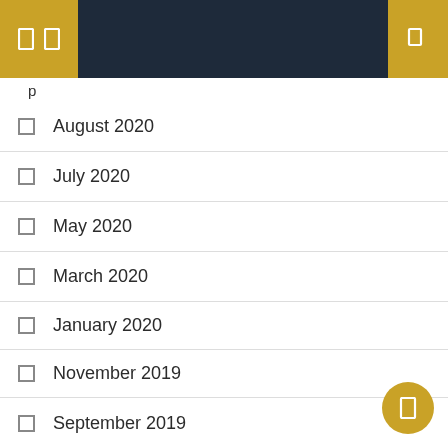Navigation header with menu and search icons
August 2020
July 2020
May 2020
March 2020
January 2020
November 2019
September 2019
August 2019
June 2019